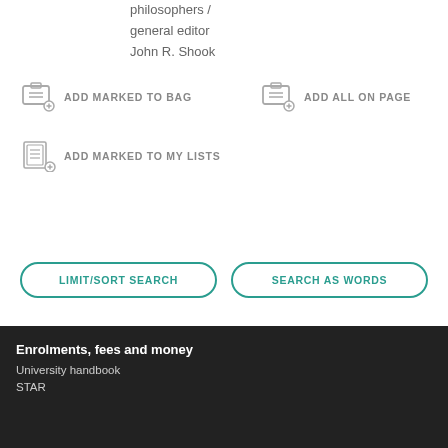philosophers /
general editor
John R. Shook
ADD MARKED TO BAG
ADD ALL ON PAGE
ADD MARKED TO MY LISTS
LIMIT/SORT SEARCH
SEARCH AS WORDS
Enrolments, fees and money
University handbook
STAR